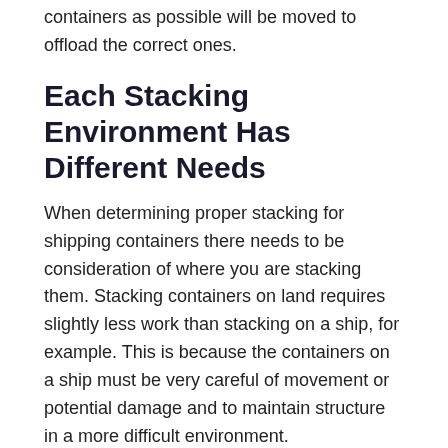containers as possible will be moved to offload the correct ones.
Each Stacking Environment Has Different Needs
When determining proper stacking for shipping containers there needs to be consideration of where you are stacking them. Stacking containers on land requires slightly less work than stacking on a ship, for example. This is because the containers on a ship must be very careful of movement or potential damage and to maintain structure in a more difficult environment.
Stacking at a place of business requires careful consideration of buildings and other structures, however stacking at someone's house requires